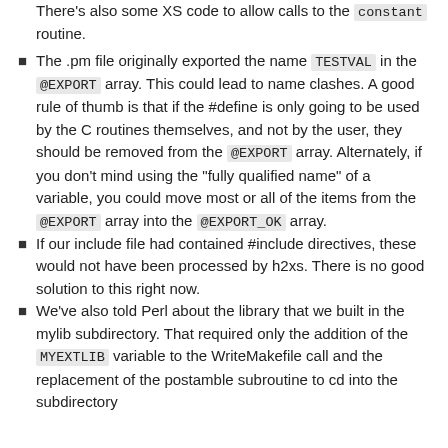There's also some XS code to allow calls to the constant routine.
The .pm file originally exported the name TESTVAL in the @EXPORT array. This could lead to name clashes. A good rule of thumb is that if the #define is only going to be used by the C routines themselves, and not by the user, they should be removed from the @EXPORT array. Alternately, if you don't mind using the "fully qualified name" of a variable, you could move most or all of the items from the @EXPORT array into the @EXPORT_OK array.
If our include file had contained #include directives, these would not have been processed by h2xs. There is no good solution to this right now.
We've also told Perl about the library that we built in the mylib subdirectory. That required only the addition of the MYEXTLIB variable to the WriteMakefile call and the replacement of the postamble subroutine to cd into the subdirectory